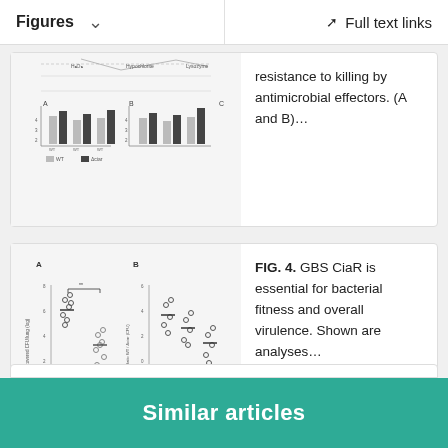Figures   Full text links
[Figure (other): Bar chart figure showing resistance data, partially cropped at top]
resistance to killing by antimicrobial effectors. (A and B)…
[Figure (scatter-plot): Scatter plot with two panels (A and B) showing recovered CFU/lung and Ratio WT for WT, Δciar conditions across Blood, Spleen, Brain]
FIG. 4. GBS CiaR is essential for bacterial fitness and overall virulence. Shown are analyses…
Similar articles